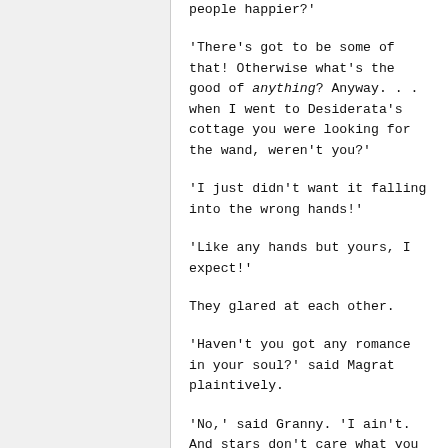people happier?'
'There's got to be some of that! Otherwise what's the good of anything? Anyway. . . when I went to Desiderata's cottage you were looking for the wand, weren't you?'
'I just didn't want it falling into the wrong hands!'
'Like any hands but yours, I expect!'
They glared at each other.
'Haven't you got any romance in your soul?' said Magrat plaintively.
'No,' said Granny. 'I ain't. And stars don't care what you wish, and magic don't make things better, and no-one doesn't get burned who sticks their hand in a fire. If you want to amount to anything as a witch, Magrat Garlick, you got to learn three things. What's real, what's not real, and what's the difference-'